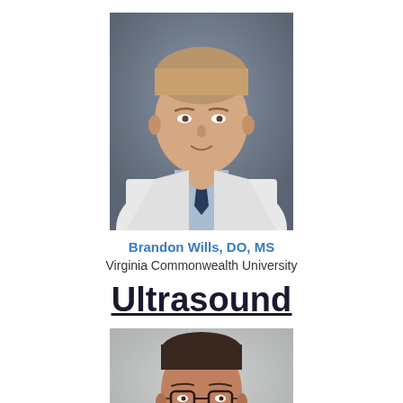[Figure (photo): Professional headshot of Brandon Wills, DO, MS — man in white lab coat with blue shirt and dark navy tie, light brown hair, neutral background]
Brandon Wills, DO, MS
Virginia Commonwealth University
Ultrasound
[Figure (photo): Professional headshot of a man with dark hair, glasses, wearing a suit, smiling, light gray background]